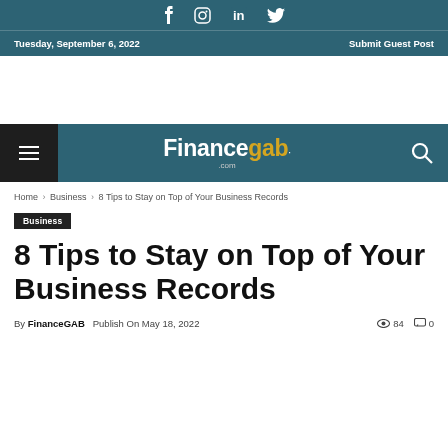f  instagram  in  twitter
Tuesday, September 6, 2022    Submit Guest Post
[Figure (logo): FinanceGab.com logo on teal navigation bar with hamburger menu and search icon]
Home › Business › 8 Tips to Stay on Top of Your Business Records
Business
8 Tips to Stay on Top of Your Business Records
By FinanceGAB   Publish On May 18, 2022    👁 84   💬 0